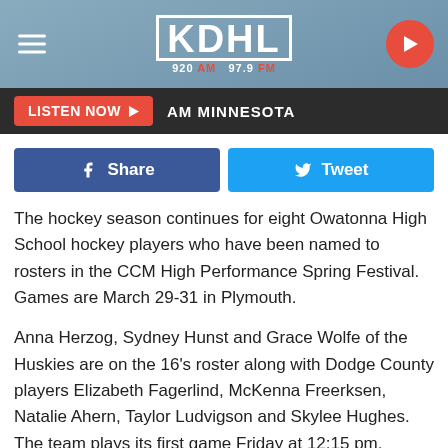[Figure (screenshot): KDHL 920 AM / 97.9 FM radio station header logo with hamburger menu and play button]
[Figure (screenshot): Listen Now button bar with AM Minnesota label]
[Figure (screenshot): Facebook Share and Twitter Tweet social sharing buttons]
The hockey season continues for eight Owatonna High School hockey players who have been named to rosters in the CCM High Performance Spring Festival. Games are March 29-31 in Plymouth.
Anna Herzog, Sydney Hunst and Grace Wolfe of the Huskies are on the 16's roster along with Dodge County players Elizabeth Fagerlind, McKenna Freerksen, Natalie Ahern, Taylor Ludvigson and Skylee Hughes. The team plays its first game Friday at 12:15 pm.